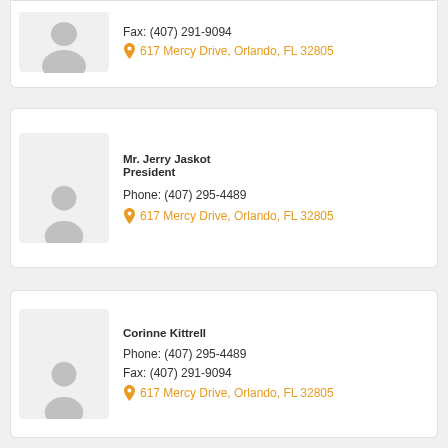Fax: (407) 291-9094
617 Mercy Drive, Orlando, FL 32805
Mr. Jerry Jaskot
President
Phone: (407) 295-4489
617 Mercy Drive, Orlando, FL 32805
Corinne Kittrell
Phone: (407) 295-4489
Fax: (407) 291-9094
617 Mercy Drive, Orlando, FL 32805